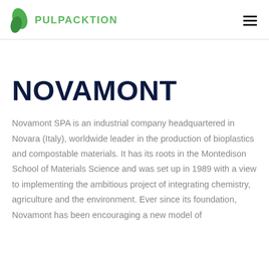PULPACKTION
NOVAMONT
Novamont SPA is an industrial company headquartered in Novara (Italy), worldwide leader in the production of bioplastics and compostable materials. It has its roots in the Montedison School of Materials Science and was set up in 1989 with a view to implementing the ambitious project of integrating chemistry, agriculture and the environment. Ever since its foundation, Novamont has been encouraging a new model of